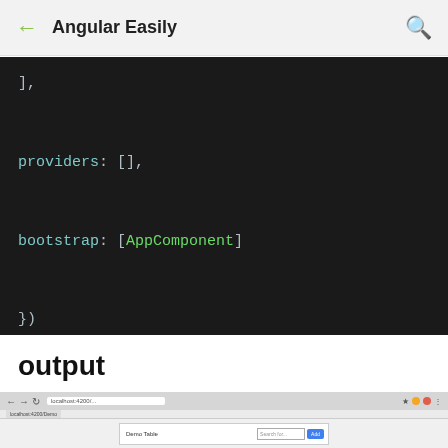← Angular Easily 🔍
[Figure (screenshot): Dark-themed code editor screenshot showing Angular module code: ], providers: [], bootstrap: [AppComponent] }) export class AppModule { }]
output
[Figure (screenshot): Browser window screenshot showing a web app interface with a search bar and Add button]